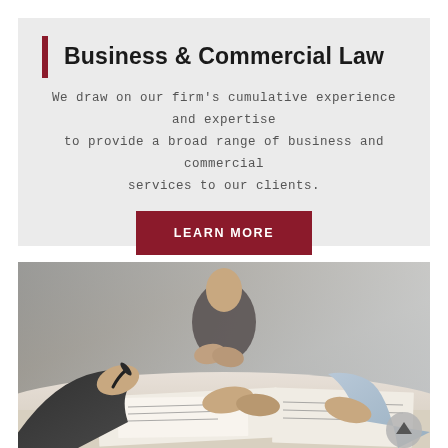Business & Commercial Law
We draw on our firm's cumulative experience and expertise to provide a broad range of business and commercial services to our clients.
LEARN MORE
[Figure (photo): Close-up photo of people sitting around a table reviewing documents; one person holds a pen writing on paper, another points at documents, a third person is in the background with hands clasped.]